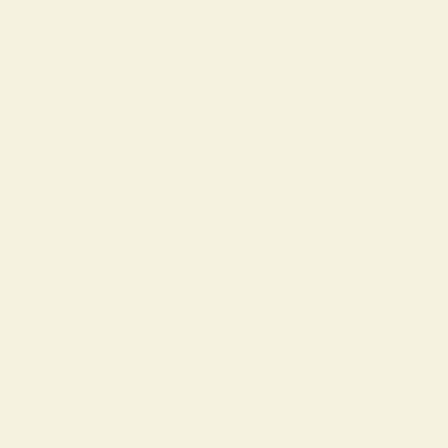And hastens to perform the fun
In altar-wise, a stately pile they r
The basis broad below, and top a
An ancient wood, fit for the wor
(The shady covert of the salvage
The Trojans found: the sounding
Firs, pines, and pitch trees, and t
Of forest ashes, feel the fatal stro
And piercing wedges cleave the s
Huge trunks of trees, fell'd from
Of the bare mountains, roll with
Arm'd like the rest the Trojan pr
And by his pious labor urges the
Thus while he wrought, revolvin
The ways to compass what his wi
He cast his eyes upon the gloomy
And then with vows implor'd the
"O may thy pow'r, propitious sti
Conduct my steps to find the fata
In this deep forest; since the Siby
Foretold, alas! too true, Misenus
Scarce had he said, when, full be
Two doves, descending from thei
Secure upon the grassy plain alig